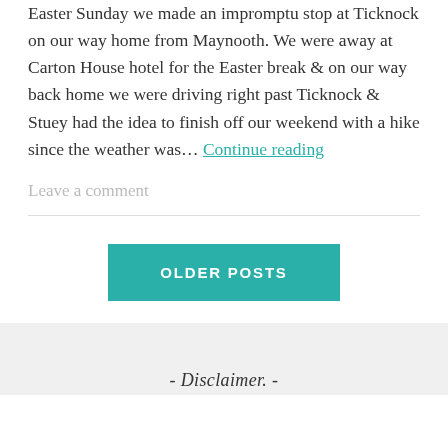Easter Sunday we made an impromptu stop at Ticknock on our way home from Maynooth. We were away at Carton House hotel for the Easter break & on our way back home we were driving right past Ticknock & Stuey had the idea to finish off our weekend with a hike since the weather was… Continue reading
Leave a comment
OLDER POSTS
- Disclaimer. -